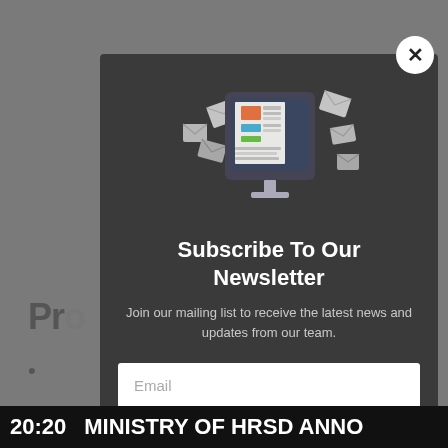[Figure (screenshot): Newsletter subscription modal popup overlay on a dimmed webpage background. The modal has a dark gray background with an illustration of a computer monitor surrounded by flying envelopes/letters at the top. Title: 'Subscribe To Our Newsletter'. Subtitle: 'Join our mailing list to receive the latest news and updates from our team.' Email input field and an orange subscribe button. A circular close (X) button appears in the top-right corner of the modal. The dimmed background shows partial text 'Pro' and bullet points, along with a news ticker at the bottom reading '20:20 MINISTRY OF HRSD ANNO'.]
20:20  MINISTRY OF HRSD ANNO